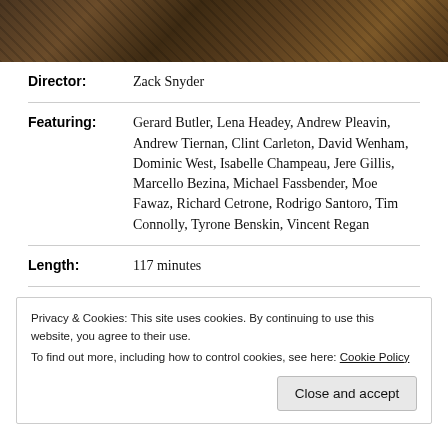[Figure (photo): Dark film still or movie scene with muted brown and gold tones, showing indistinct figures or objects]
Director: Zack Snyder
Featuring: Gerard Butler, Lena Headey, Andrew Pleavin, Andrew Tiernan, Clint Carleton, David Wenham, Dominic West, Isabelle Champeau, Jere Gillis, Marcello Bezina, Michael Fassbender, Moe Fawaz, Richard Cetrone, Rodrigo Santoro, Tim Connolly, Tyrone Benskin, Vincent Regan
Length: 117 minutes
Privacy & Cookies: This site uses cookies. By continuing to use this website, you agree to their use. To find out more, including how to control cookies, see here: Cookie Policy
Close and accept